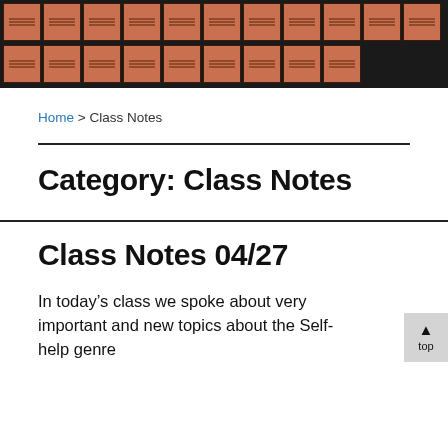[Figure (photo): Rows of orange/brown index cards arranged in a grid on a dark background, resembling a wall of library catalog cards or class notes cards.]
Home > Class Notes
Category: Class Notes
Class Notes 04/27
In today's class we spoke about very important and new topics about the Self-help genre